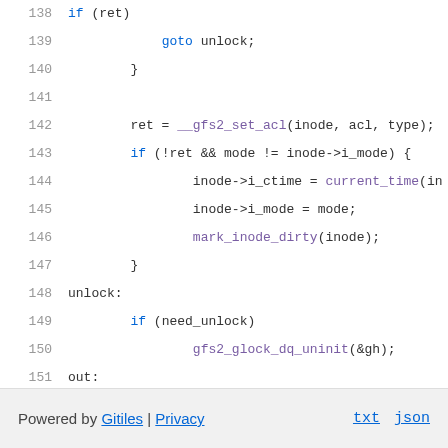Source code listing lines 138-154 of a C file (GFS2 filesystem, Linux kernel). Shows ACL setting logic with inode mode update and glock operations.
Powered by Gitiles | Privacy    txt  json